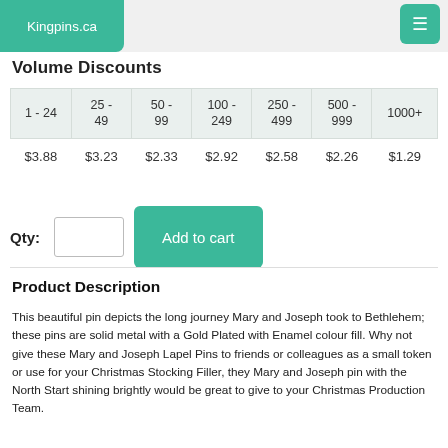Kingpins.ca
Volume Discounts
| 1 - 24 | 25 - 49 | 50 - 99 | 100 - 249 | 250 - 499 | 500 - 999 | 1000+ |
| --- | --- | --- | --- | --- | --- | --- |
| $3.88 | $3.23 | $2.33 | $2.92 | $2.58 | $2.26 | $1.29 |
Qty:
Product Description
This beautiful pin depicts the long journey Mary and Joseph took to Bethlehem; these pins are solid metal with a Gold Plated with Enamel colour fill. Why not give these Mary and Joseph Lapel Pins to friends or colleagues as a small token or use for your Christmas Stocking Filler, they Mary and Joseph pin with the North Start shining brightly would be great to give to your Christmas Production Team.
FREE SHIPPING AVAILABLE